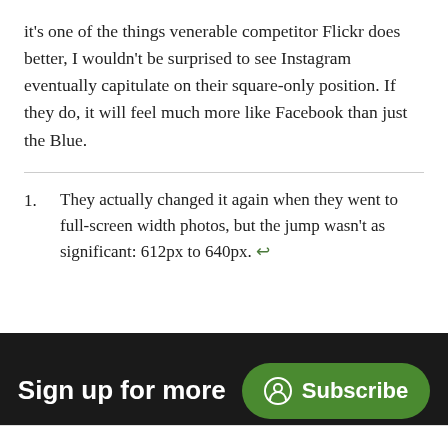it's one of the things venerable competitor Flickr does better, I wouldn't be surprised to see Instagram eventually capitulate on their square-only position. If they do, it will feel much more like Facebook than just the Blue.
1. They actually changed it again when they went to full-screen width photos, but the jump wasn't as significant: 612px to 640px. ↩
Sign up for more
Subscribe